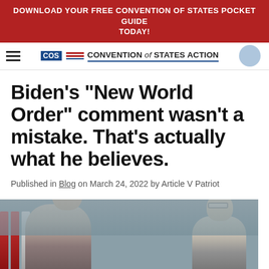DOWNLOAD YOUR FREE CONVENTION OF STATES POCKET GUIDE TODAY!
[Figure (logo): Convention of States Action logo with hamburger menu and search circle]
Biden's "New World Order" comment wasn't a mistake. That's actually what he believes.
Published in Blog on March 24, 2022 by Article V Patriot
[Figure (photo): Photo of two men, likely at a political event with flags in background]